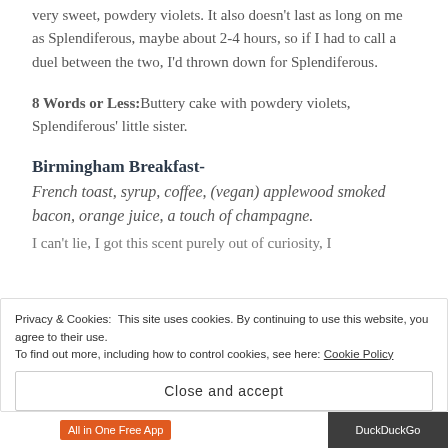very sweet, powdery violets. It also doesn't last as long on me as Splendiferous, maybe about 2-4 hours, so if I had to call a duel between the two, I'd thrown down for Splendiferous.
8 Words or Less: Buttery cake with powdery violets, Splendiferous' little sister.
Birmingham Breakfast-
French toast, syrup, coffee, (vegan) applewood smoked bacon, orange juice, a touch of champagne.
I can't lie, I got this scent purely out of curiosity, I
Privacy & Cookies: This site uses cookies. By continuing to use this website, you agree to their use.
To find out more, including how to control cookies, see here: Cookie Policy
Close and accept